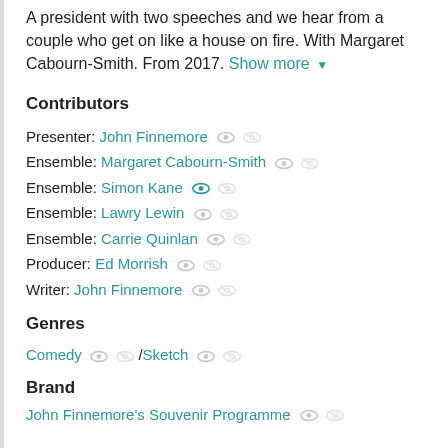A president with two speeches and we hear from a couple who get on like a house on fire. With Margaret Cabourn-Smith. From 2017. Show more ▼
Contributors
Presenter: John Finnemore
Ensemble: Margaret Cabourn-Smith
Ensemble: Simon Kane
Ensemble: Lawry Lewin
Ensemble: Carrie Quinlan
Producer: Ed Morrish
Writer: John Finnemore
Genres
Comedy / Sketch
Brand
John Finnemore's Souvenir Programme